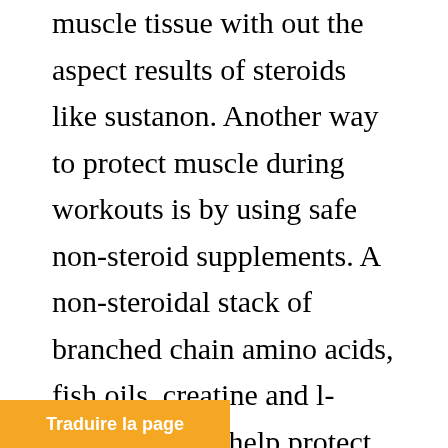muscle tissue with out the aspect results of steroids like sustanon. Another way to protect muscle during workouts is by using safe non-steroid supplements. A non-steroidal stack of branched chain amino acids, fish oils, creatine and l-glutamine can help protect muscles. Increased muscle definition and better recovery time mean quicker gains of lean muscle. Top 5 supplements that work like steroids. If you want to get jacked like you were on steroids without actually taking are your best options: 1
Traduire la page